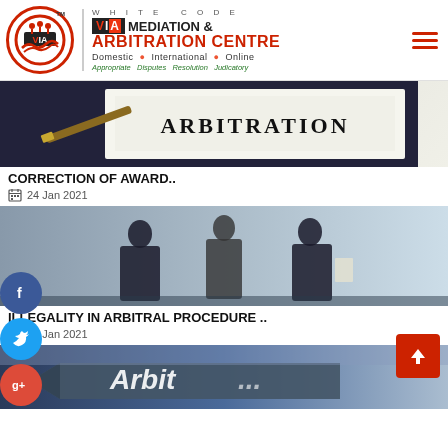[Figure (logo): White Code VIA Mediation & Arbitration Centre logo with red circle, handshake icon, brand name, and tagline]
[Figure (photo): Document on desk with pen, text reading ARBITRATION]
CORRECTION OF AWARD..
24 Jan 2021
[Figure (photo): Three businessmen in silhouette discussing, blurred background]
ILLEGALITY IN ARBITRAL PROCEDURE ..
22 Jan 2021
[Figure (photo): Road sign with text Arbit... (partial), Arbitration sign outdoors]